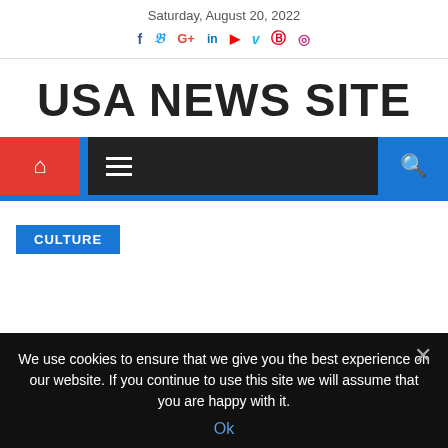Saturday, August 20, 2022
[Figure (infographic): Social media icons: Facebook, Twitter, Google+, LinkedIn, YouTube, Vimeo, Pinterest, Instagram]
USA NEWS SITE
[Figure (infographic): Navigation bar with red home icon, hamburger menu, and blue search icon]
CULTURE
We use cookies to ensure that we give you the best experience on our website. If you continue to use this site we will assume that you are happy with it.
Ok